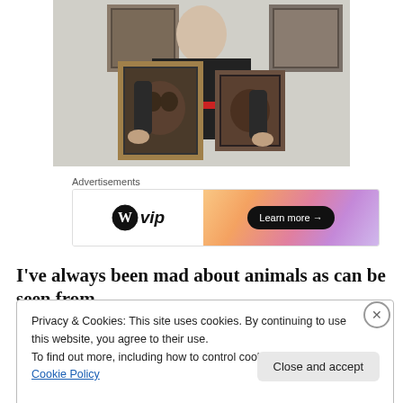[Figure (photo): A man wearing a black hoodie with 'ROAR' text holding two framed portraits of animals (chimpanzees/orangutans), with more framed animal portraits on the wall behind him.]
Advertisements
[Figure (other): WordPress VIP advertisement banner with 'WP vip' logo on left and orange/pink gradient on right with 'Learn more →' button]
I've always been mad about animals as can be seen from
Privacy & Cookies: This site uses cookies. By continuing to use this website, you agree to their use.
To find out more, including how to control cookies, see here: Cookie Policy
Close and accept